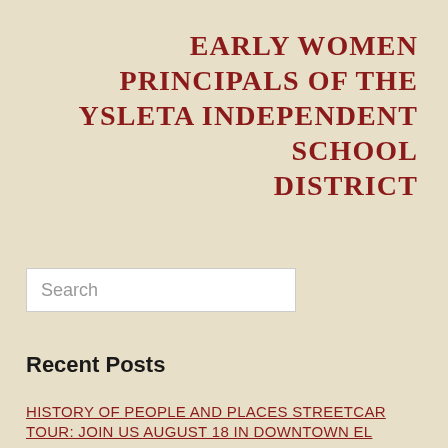EARLY WOMEN PRINCIPALS OF THE YSLETA INDEPENDENT SCHOOL DISTRICT
Search
Recent Posts
HISTORY OF PEOPLE AND PLACES STREETCAR TOUR: JOIN US AUGUST 18 IN DOWNTOWN EL